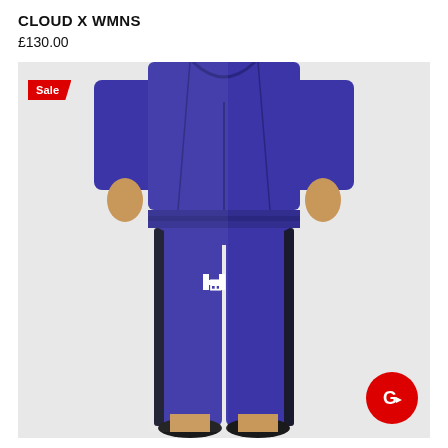CLOUD X WMNS
£130.00
[Figure (photo): Person wearing blue Under Armour tracksuit jogger pants with black side stripe and Under Armour logo, paired with a blue zip-up jacket. A red 'Sale' badge appears in the top-left corner of the image and a red circular go button in the bottom-right.]